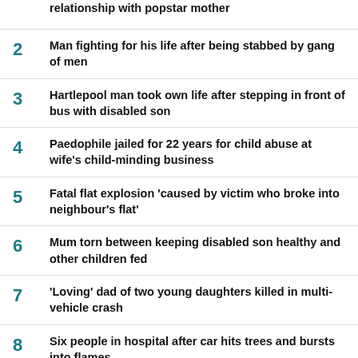relationship with popstar mother
2 Man fighting for his life after being stabbed by gang of men
3 Hartlepool man took own life after stepping in front of bus with disabled son
4 Paedophile jailed for 22 years for child abuse at wife's child-minding business
5 Fatal flat explosion 'caused by victim who broke into neighbour's flat'
6 Mum torn between keeping disabled son healthy and other children fed
7 'Loving' dad of two young daughters killed in multi-vehicle crash
8 Six people in hospital after car hits trees and bursts into flames